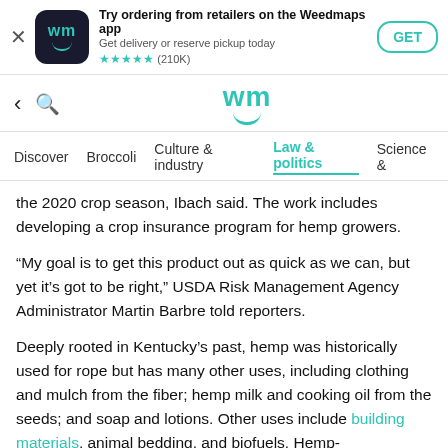[Figure (screenshot): Weedmaps app advertisement banner with app icon, title, subtitle, star rating, and GET button]
[Figure (screenshot): Weedmaps website navigation bar with back arrow, search icon, and wm logo]
Discover  Broccoli  Culture & industry  Law & politics  Science &
the 2020 crop season, Ibach said. The work includes developing a crop insurance program for hemp growers.
“My goal is to get this product out as quick as we can, but yet it’s got to be right,” USDA Risk Management Agency Administrator Martin Barbre told reporters.
Deeply rooted in Kentucky’s past, hemp was historically used for rope but has many other uses, including clothing and mulch from the fiber; hemp milk and cooking oil from the seeds; and soap and lotions. Other uses include building materials, animal bedding, and biofuels. Hemp-